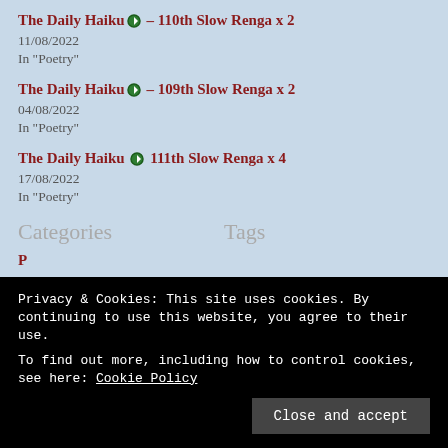The Daily Haiku – 110th Slow Renga x 2
11/08/2022
In "Poetry"
The Daily Haiku – 109th Slow Renga x 2
04/08/2022
In "Poetry"
The Daily Haiku 111th Slow Renga x 4
17/08/2022
In "Poetry"
Categories
Tags
P
Privacy & Cookies: This site uses cookies. By continuing to use this website, you agree to their use.
To find out more, including how to control cookies, see here: Cookie Policy
Close and accept